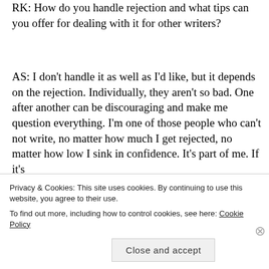RK: How do you handle rejection and what tips can you offer for dealing with it for other writers?
AS: I don't handle it as well as I'd like, but it depends on the rejection. Individually, they aren't so bad. One after another can be discouraging and make me question everything. I'm one of those people who can't not write, no matter how much I get rejected, no matter how low I sink in confidence. It's part of me. If it's
Privacy & Cookies: This site uses cookies. By continuing to use this website, you agree to their use.
To find out more, including how to control cookies, see here: Cookie Policy
Close and accept